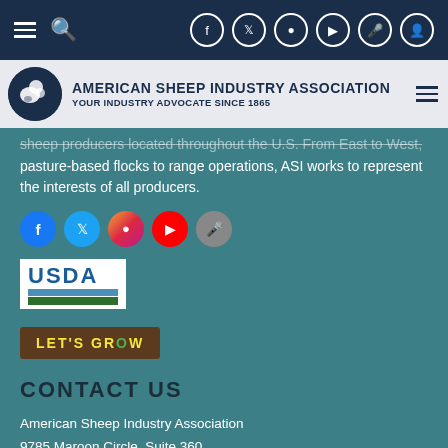Navigation bar with hamburger menu, search, and social media icons (Facebook, Twitter, Instagram, YouTube, microphone, user)
[Figure (logo): American Sheep Industry Association logo with circular sheep graphic and text: AMERICAN SHEEP INDUSTRY ASSOCIATION / YOUR INDUSTRY ADVOCATE SINCE 1865]
sheep producers located throughout the U.S. From East to West, pasture-based flocks to range operations, ASI works to represent the interests of all producers.
[Figure (infographic): Row of social media icons: Facebook (blue), Twitter (light blue), Instagram (gradient), YouTube (red), microphone (grey)]
[Figure (logo): USDA logo with blue text and green/teal striped graphic]
[Figure (logo): LET'S GROW badge with brown background and yellow text, green O]
CONTACT US
American Sheep Industry Association
9785 Maroon Circle, Suite 360
Englewood, CO 80112
303-771-3500